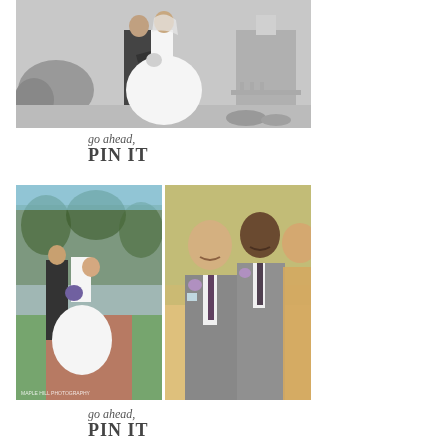[Figure (photo): Black and white photo of a bride and groom standing together outdoors, with trees and a building in the background. The groom is in a dark suit and the bride is in a full white ball gown holding a bouquet.]
go ahead,
PIN IT
[Figure (photo): Color photo on the left showing a bride in a white ball gown being walked down the aisle by a man in a dark suit, outdoors with trees in background. Color photo on the right showing three groomsmen in gray suits smiling, with floral boutonnieres. A watermark reads 'MAPLE HILL PHOTOGRAPHY' at the bottom.]
go ahead,
PIN IT